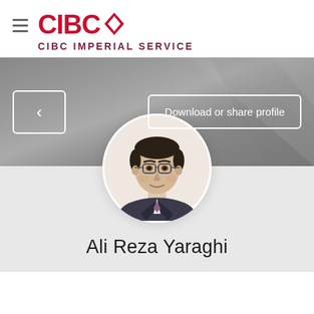[Figure (logo): CIBC logo with red diamond shape]
CIBC IMPERIAL SERVICE
[Figure (photo): Professional headshot of Ali Reza Yaraghi, a man wearing glasses and a dark suit, circular profile photo]
Download or share profile
Ali Reza Yaraghi